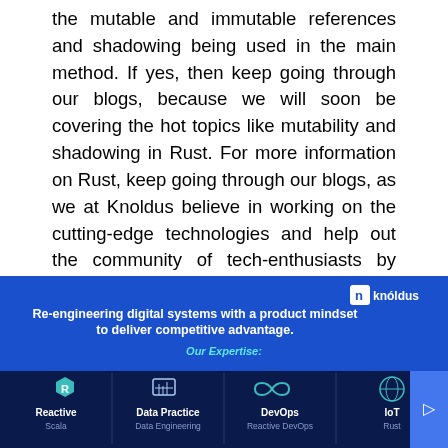the mutable and immutable references and shadowing being used in the main method. If yes, then keep going through our blogs, because we will soon be covering the hot topics like mutability and shadowing in Rust. For more information on Rust, keep going through our blogs, as we at Knoldus believe in working on the cutting-edge technologies and help out the community of tech-enthusiasts by sharing our experiences and knowledge.
References: https://doc.rust-lang.org/book/second-edition/
[Figure (infographic): Knoldus banner: Re-engineering digital systems with a product mindset to deliver competitive advantage. Our Expertise: Reactive (Scala), Data Practice (Data Engineering), DevOps (Reactive DevOps), IoT (Rust)]